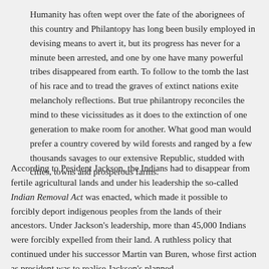Humanity has often wept over the fate of the aborignees of this country and Philantopy has long been busily employed in devising means to avert it, but its progress has never for a minute been arrested, and one by one have many powerful tribes disappeared from earth. To follow to the tomb the last of his race and to tread the graves of extinct nations exite melancholy reflections. But true philantropy reconciles the mind to these vicissitudes as it does to the extinction of one generation to make room for another. What good man would prefer a country covered by wild forests and ranged by a few thousands savages to our extensive Republic, studded with cities, towns and prosperous farms.
According to Pesident Jackson, the Indians had to disappear from fertile agricultural lands and under his leadership the so-called Indian Removal Act was enacted, which made it possible to forcibly deport indigenous peoples from the lands of their ancestors. Under Jackson's leadership, more than 45,000 Indians were forcibly expelled from their land. A ruthless policy that continued under his successor Martin van Buren, whose first action as president was to realise Jackson's planned